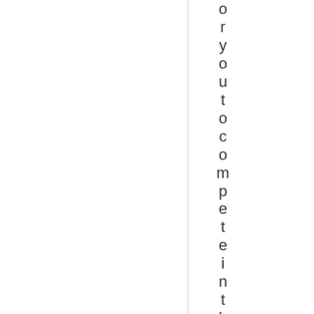or you to compete in the half marathon